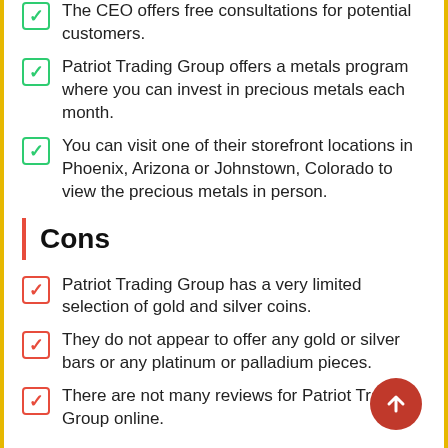The CEO offers free consultations for potential customers.
Patriot Trading Group offers a metals program where you can invest in precious metals each month.
You can visit one of their storefront locations in Phoenix, Arizona or Johnstown, Colorado to view the precious metals in person.
Cons
Patriot Trading Group has a very limited selection of gold and silver coins.
They do not appear to offer any gold or silver bars or any platinum or palladium pieces.
There are not many reviews for Patriot Trading Group online.